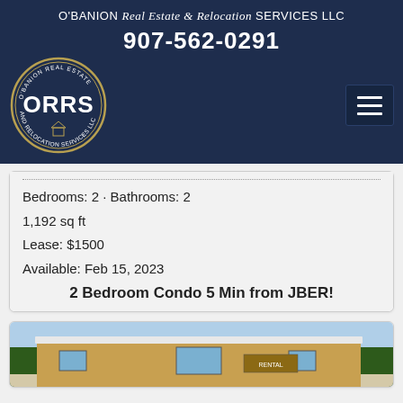O'BANION Real Estate & Relocation SERVICES LLC
907-562-0291
[Figure (logo): ORRS oval logo with text 'O'BANION REAL ESTATE AND RELOCATION SERVICES LLC' around the edge]
Bedrooms: 2 · Bathrooms: 2
1,192 sq ft
Lease: $1500
Available: Feb 15, 2023
2 Bedroom Condo 5 Min from JBER!
[Figure (photo): Photo of a wood-sided building with snow on the roof, surrounded by trees in winter]